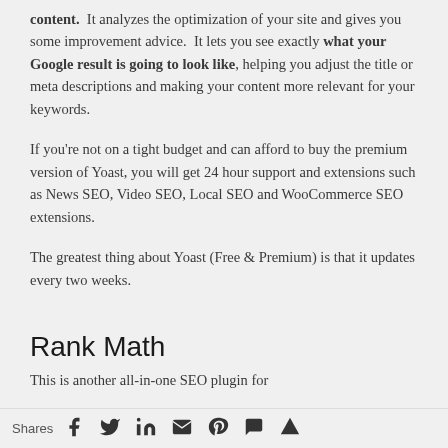content. It analyzes the optimization of your site and gives you some improvement advice. It lets you see exactly what your Google result is going to look like, helping you adjust the title or meta descriptions and making your content more relevant for your keywords.
If you're not on a tight budget and can afford to buy the premium version of Yoast, you will get 24 hour support and extensions such as News SEO, Video SEO, Local SEO and WooCommerce SEO extensions.
The greatest thing about Yoast (Free & Premium) is that it updates every two weeks.
Rank Math
This is another all-in-one SEO plugin for
Shares [social icons: Facebook, Twitter, LinkedIn, Email, Pinterest, SMS, Feedly]